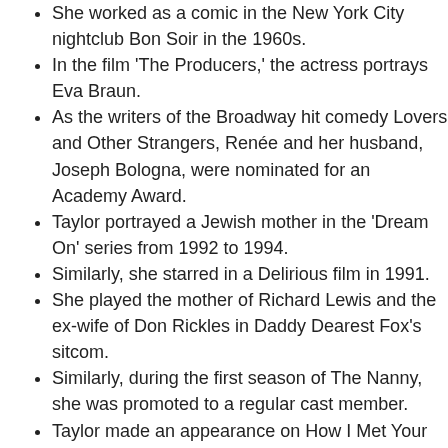She worked as a comic in the New York City nightclub Bon Soir in the 1960s.
In the film 'The Producers,' the actress portrays Eva Braun.
As the writers of the Broadway hit comedy Lovers and Other Strangers, Renée and her husband, Joseph Bologna, were nominated for an Academy Award.
Taylor portrayed a Jewish mother in the 'Dream On' series from 1992 to 1994.
Similarly, she starred in a Delirious film in 1991.
She played the mother of Richard Lewis and the ex-wife of Don Rickles in Daddy Dearest Fox's sitcom.
Similarly, during the first season of The Nanny, she was promoted to a regular cast member.
Taylor made an appearance on How I Met Your Mother in 2008 as Mrs. Matsen, Ted Mosby's next-door neighbor.
She also appeared as a guest star in the Disney Channel